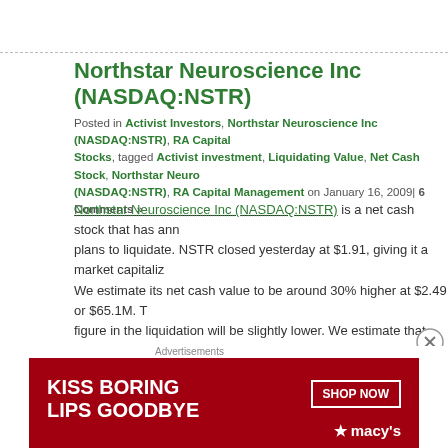Northstar Neuroscience Inc (NASDAQ:NSTR)
Posted in Activist Investors, Northstar Neuroscience Inc (NASDAQ:NSTR), RA Capital Management Stocks, tagged Activist investment, Liquidating Value, Net Cash Stock, Northstar Neuroscience Inc (NASDAQ:NSTR), RA Capital Management on January 16, 2009| 6 Comments »
Northstar Neuroscience Inc (NASDAQ:NSTR) is a net cash stock that has announced plans to liquidate. NSTR closed yesterday at $1.91, giving it a market capitalization. We estimate its net cash value to be around 30% higher at $2.49 or $65.1M. The figure in the liquidation will be slightly lower. We estimate that figure at around $2.26 per share, which presents an upside of around 18%. The liquidation is subject to stockholder approval and the upside isn't huge, but NSTR presents a reasonable shot at a good return in a short time frame.
About NSTR
The company's most recent filing in relation to the liquidation attaches the following press release:
[Figure (photo): Macy's advertisement banner: Kiss Boring Lips Goodbye — Shop Now, Macy's star logo]